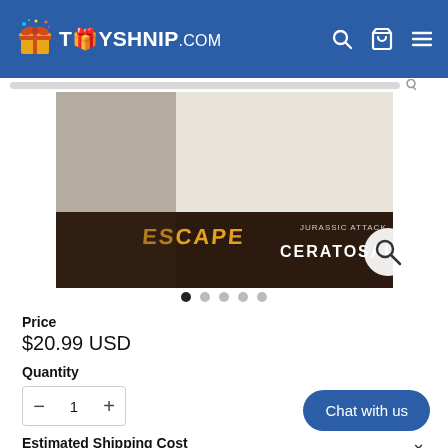TOYSHNIP.com
[Figure (photo): Product image showing a toy dinosaur packaging for Ceratosaurus with 'Escape' branding, age 4+, with barcode visible]
● ○ ○ ○ ○  (carousel dots)
Price
$20.99 USD
Quantity
- 1 +
Chat with us
Estimated Shipping Cost